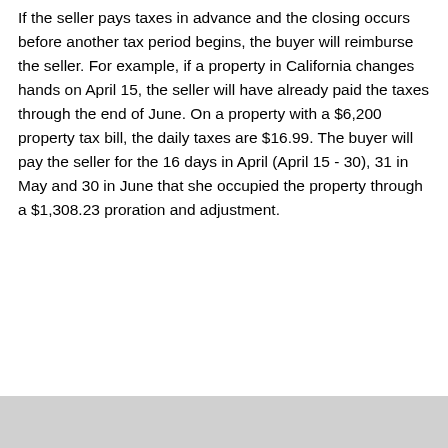If the seller pays taxes in advance and the closing occurs before another tax period begins, the buyer will reimburse the seller. For example, if a property in California changes hands on April 15, the seller will have already paid the taxes through the end of June. On a property with a $6,200 property tax bill, the daily taxes are $16.99. The buyer will pay the seller for the 16 days in April (April 15 - 30), 31 in May and 30 in June that she occupied the property through a $1,308.23 proration and adjustment.